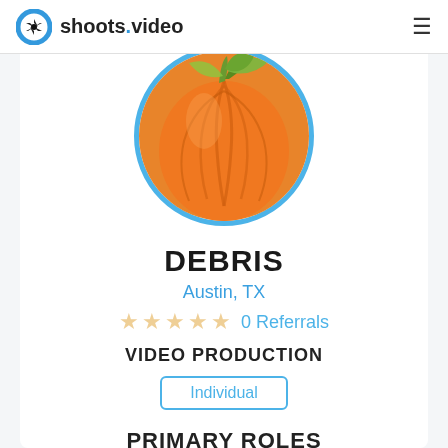shoots.video
[Figure (photo): Circular profile photo showing a close-up of an orange pumpkin with green stem and leaves, framed by a blue circular border]
DEBRIS
Austin, TX
☆☆☆☆☆ 0 Referrals
VIDEO PRODUCTION
Individual
PRIMARY ROLES
Grip
Music Composition